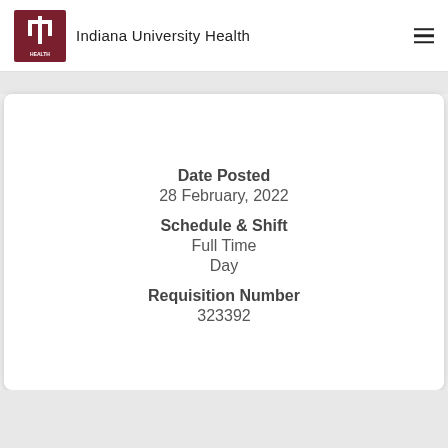Indiana University Health
Date Posted
28 February, 2022
Schedule & Shift
Full Time
Day
Requisition Number
323392